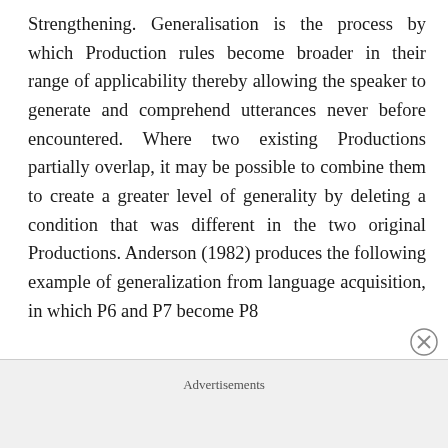Strengthening. Generalisation is the process by which Production rules become broader in their range of applicability thereby allowing the speaker to generate and comprehend utterances never before encountered. Where two existing Productions partially overlap, it may be possible to combine them to create a greater level of generality by deleting a condition that was different in the two original Productions. Anderson (1982) produces the following example of generalization from language acquisition, in which P6 and P7 become P8
Advertisements